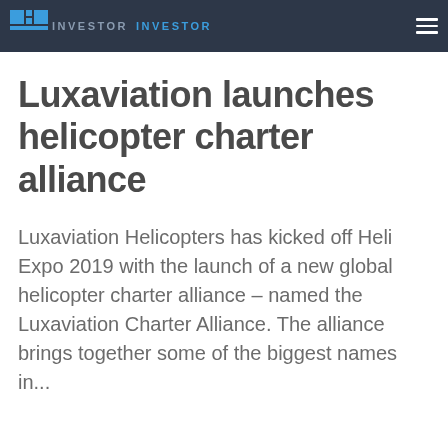HI INVESTOR INVESTOR
Luxaviation launches helicopter charter alliance
Luxaviation Helicopters has kicked off Heli Expo 2019 with the launch of a new global helicopter charter alliance – named the Luxaviation Charter Alliance. The alliance brings together some of the biggest names in...